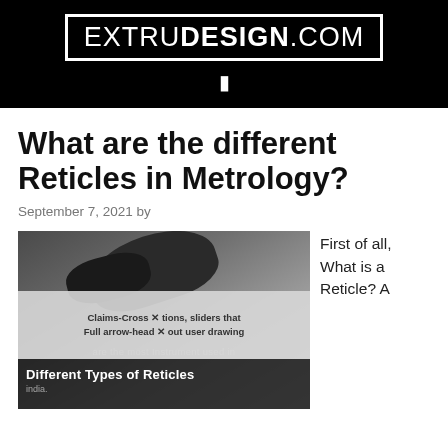EXTRUDESIGN.COM
What are the different Reticles in Metrology?
September 7, 2021 by
[Figure (photo): Grayscale photo of a metrology instrument (possibly a microscope or comparator) with overlay text 'Different Types of Reticles' and a popup dialog box showing options and an X close button.]
First of all, What is a Reticle? A